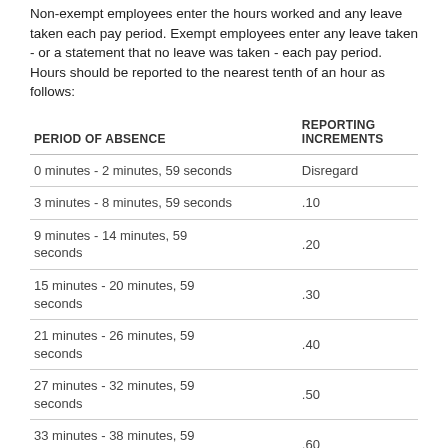Non-exempt employees enter the hours worked and any leave taken each pay period. Exempt employees enter any leave taken - or a statement that no leave was taken - each pay period. Hours should be reported to the nearest tenth of an hour as follows:
| PERIOD OF ABSENCE | REPORTING INCREMENTS |
| --- | --- |
| 0 minutes - 2 minutes, 59 seconds | Disregard |
| 3 minutes - 8 minutes, 59 seconds | .10 |
| 9 minutes - 14 minutes, 59 seconds | .20 |
| 15 minutes - 20 minutes, 59 seconds | .30 |
| 21 minutes - 26 minutes, 59 seconds | .40 |
| 27 minutes - 32 minutes, 59 seconds | .50 |
| 33 minutes - 38 minutes, 59 seconds | .60 |
| 39 minutes - 44 minutes, 59 seconds | .70 |